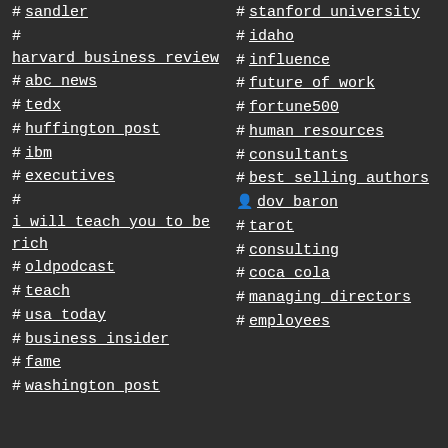# sandler
# harvard business review
# abc news
# tedx
# huffington post
# ibm
# executives
# i will teach you to be rich
# oldpodcast
# teach
# usa today
# business insider
# fame
# washington post
# stanford university
# idaho
# influence
# future of work
# fortune500
# human resources
# consultants
# best selling authors
dov baron
# tarot
# consulting
# coca cola
# managing directors
# employees